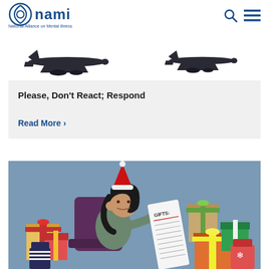NAMI - National Alliance on Mental Illness
[Figure (illustration): Two black airplane silhouettes on white background, one on left and one on right]
Please, Don't React; Respond
Read More >
[Figure (illustration): Cartoon illustration of a stressed woman wearing a Santa hat, sitting in a chair surrounded by wrapped Christmas gifts, holding a long list labeled GIFTS:]